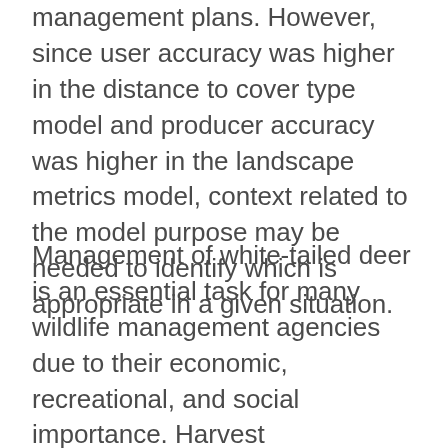management plans.  However, since user accuracy was higher in the distance to cover type model and producer accuracy was higher in the landscape metrics model, context related to the model purpose may be needed to identify which is appropriate in a given situation.
Management of white-tailed deer is an essential task for many wildlife management agencies due to their economic, recreational, and social importance.  Harvest management is a key tool for capturing the benefits and mitigating some detrimental social and